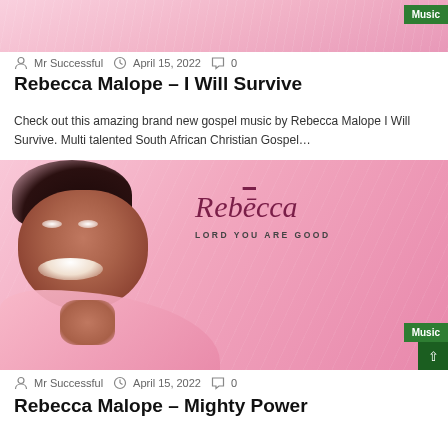[Figure (photo): Cropped top portion of a pink album cover image, partially visible]
Mr Successful   April 15, 2022   0
Rebecca Malope – I Will Survive
Check out this amazing brand new gospel music by Rebecca Malope I Will Survive. Multi talented South African Christian Gospel…
[Figure (photo): Rebecca Malope album cover for 'Lord You Are Good' – woman in pink outfit smiling, with stylized 'Rebecca' text and 'LORD YOU ARE GOOD' subtitle, Music badge in bottom right]
Mr Successful   April 15, 2022   0
Rebecca Malope – Mighty Power